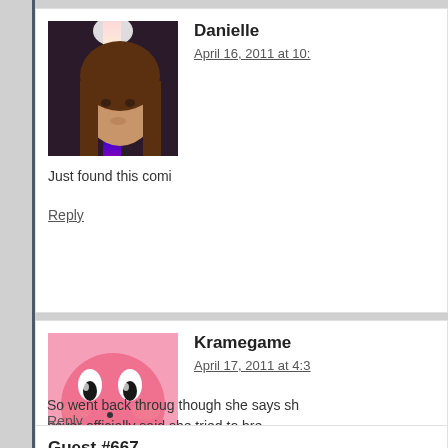[Figure (photo): Avatar photo of user Danielle - woman's face with light effect]
Danielle
April 16, 2011 at 10:
Just found this comi
Reply
[Figure (illustration): Avatar of user Kramegame - Kirby character, pink round character with eyes]
Kramegame
April 17, 2011 at 4:3
So went back throug though she says sh never officially said she tried to bre stop talking to him. So really this m mad, and until he does something things out.
Reply
Guest #667